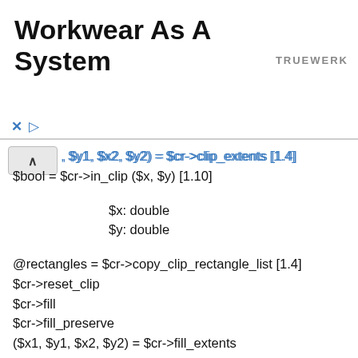Workwear As A System
, $y1, $x2, $y2) = $cr->clip_extents [1.4]
$bool = $cr->in_clip ($x, $y) [1.10]
$x: double
$y: double
@rectangles = $cr->copy_clip_rectangle_list [1.4]
$cr->reset_clip
$cr->fill
$cr->fill_preserve
($x1, $y1, $x2, $y2) = $cr->fill_extents
$bool = $cr->in_fill ($x, $y)
$x: double
$y: double